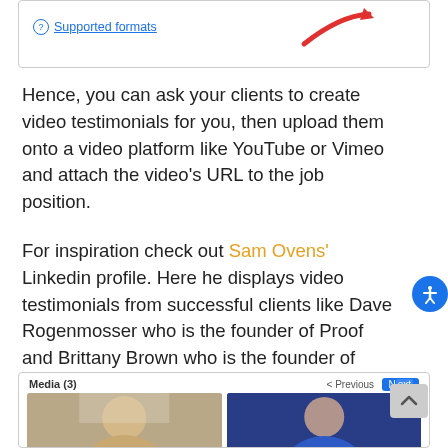[Figure (screenshot): Top portion of a UI box showing a 'Supported formats' link with a question mark icon and a red arrow pointing to something off-screen.]
Hence, you can ask your clients to create video testimonials for you, then upload them onto a video platform like YouTube or Vimeo and attach the video's URL to the job position.
For inspiration check out Sam Ovens' Linkedin profile. Here he displays video testimonials from successful clients like Dave Rogenmosser who is the founder of Proof and Brittany Brown who is the founder of Beating Binge Eating.
[Figure (screenshot): LinkedIn-style Media section showing Media (3) header with Previous/Next navigation and two video thumbnail previews: 'Review by Dave Rogenmosser' and 'Review by Brittany Brown'.]